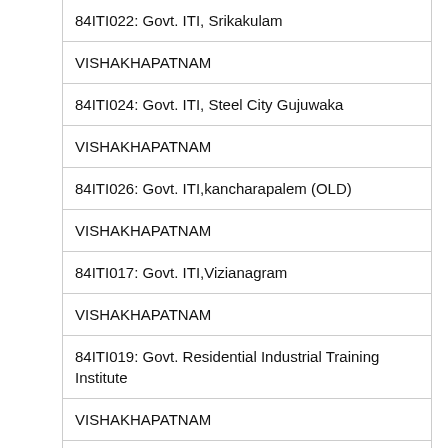| 84ITI022: Govt. ITI, Srikakulam |
| VISHAKHAPATNAM |
| 84ITI024: Govt. ITI, Steel City Gujuwaka |
| VISHAKHAPATNAM |
| 84ITI026: Govt. ITI,kancharapalem (OLD) |
| VISHAKHAPATNAM |
| 84ITI017: Govt. ITI,Vizianagram |
| VISHAKHAPATNAM |
| 84ITI019: Govt. Residential Industrial Training Institute |
| VISHAKHAPATNAM |
| 84ITI010: Govt. RITI, Bhadragiri |